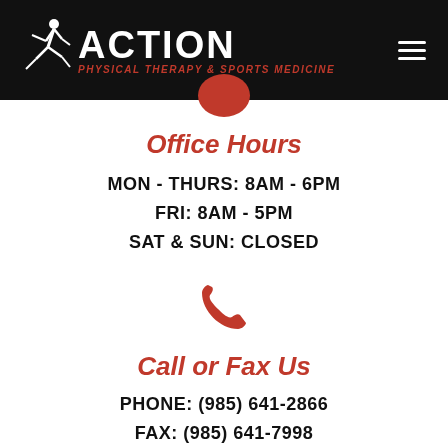[Figure (logo): Action Physical Therapy & Sports Medicine logo with runner silhouette on black header bar]
Office Hours
MON - THURS: 8AM - 6PM
FRI: 8AM - 5PM
SAT & SUN: CLOSED
[Figure (illustration): Red phone handset icon]
Call or Fax Us
PHONE: (985) 641-2866
FAX: (985) 641-7998